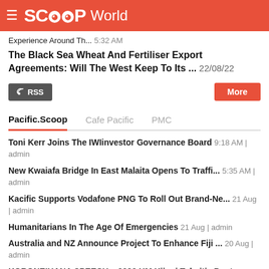SCOOP World
Experience Around Th... 5:32 AM
The Black Sea Wheat And Fertiliser Export Agreements: Will The West Keep To Its ... 22/08/22
RSS | More
Pacific.Scoop | Cafe Pacific | PMC
Toni Kerr Joins The IWIinvestor Governance Board 9:18 AM | admin
New Kwaiafa Bridge In East Malaita Opens To Traffi... 5:35 AM | admin
Kacific Supports Vodafone PNG To Roll Out Brand-Ne... 21 Aug | admin
Humanitarians In The Age Of Emergencies 21 Aug | admin
Australia and NZ Announce Project To Enhance Fiji ... 20 Aug | admin
KORONEIHANA SPEECH – 2022 HM Kiingi Tuheitia Poota... 20 Aug | admin
Kiingitanga Urges Leaders To Change Course In Post... 20 Aug | admin
RSS | News Alerts | More